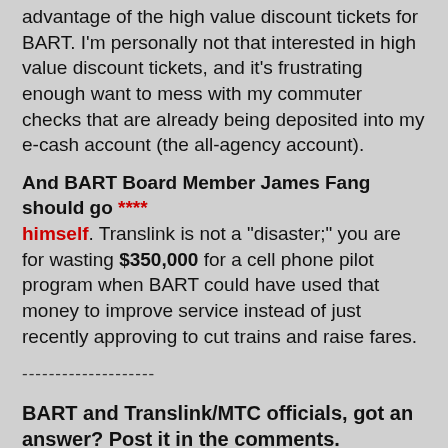advantage of the high value discount tickets for BART. I'm personally not that interested in high value discount tickets, and it's frustrating enough want to mess with my commuter checks that are already being deposited into my e-cash account (the all-agency account).
And BART Board Member James Fang should go **** himself. Translink is not a "disaster;" you are for wasting $350,000 for a cell phone pilot program when BART could have used that money to improve service instead of just recently approving to cut trains and raise fares.
--------------------
BART and Translink/MTC officials, got an answer? Post it in the comments. Opinions welcomed too!
Akit
Share
2 comments: